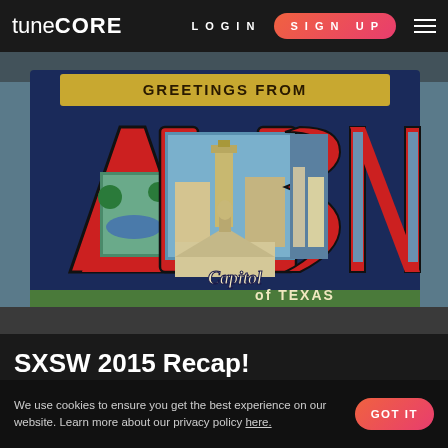tuneCORE  LOGIN  SIGN UP
[Figure (photo): Photo of the famous Austin, Texas 'Greetings from Austin, Capitol of Texas' postcard-style mural painted on a wall, showing illustrated scenes of Austin inside large letters spelling AUSTIN, with a grass lawn in the foreground]
SXSW 2015 Recap!
Amidst the crowds of flustered music fans, rows of bars with live music blaring out of open doors, networking industry folks,
We use cookies to ensure you get the best experience on our website. Learn more about our privacy policy here.